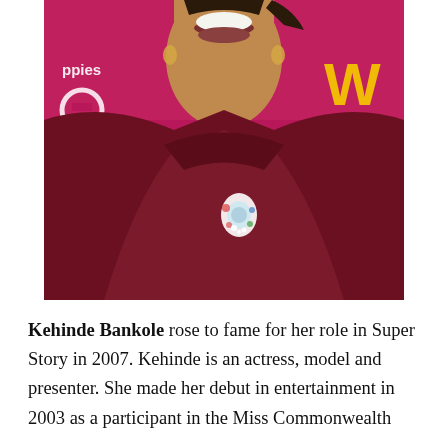[Figure (photo): A smiling woman (Kehinde Bankole) wearing a dark maroon top with a jewelled brooch, photographed at an event with a magenta/purple banner background with yellow letters.]
Kehinde Bankole rose to fame for her role in Super Story in 2007. Kehinde is an actress, model and presenter. She made her debut in entertainment in 2003 as a participant in the Miss Commonwealth